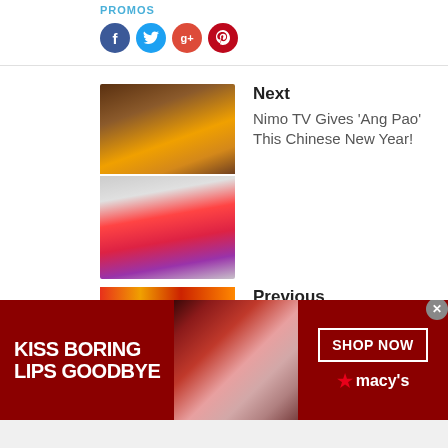PROMOS
[Figure (illustration): Social media share icons: Facebook (blue circle, f), Twitter (light blue circle, bird), Google+ (red circle, g+), Pinterest (dark red circle, P)]
[Figure (photo): Blurred thumbnail image for Next article about Nimo TV Chinese New Year promotion]
Next
Nimo TV Gives 'Ang Pao' This Chinese New Year!
[Figure (photo): Blurred thumbnail image for Previous article, colorful background]
Previous
[Figure (photo): Macy's advertisement banner: KISS BORING LIPS GOODBYE - SHOP NOW - macys logo. Woman with red lipstick.]